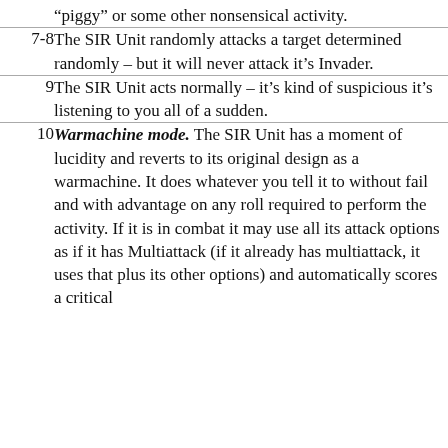“piggy” or some other nonsensical activity.
7-8  The SIR Unit randomly attacks a target determined randomly – but it will never attack it’s Invader.
9  The SIR Unit acts normally – it’s kind of suspicious it’s listening to you all of a sudden.
10  Warmachine mode. The SIR Unit has a moment of lucidity and reverts to its original design as a warmachine. It does whatever you tell it to without fail and with advantage on any roll required to perform the activity. If it is in combat it may use all its attack options as if it has Multiattack (if it already has multiattack, it uses that plus its other options) and automatically scores a critical